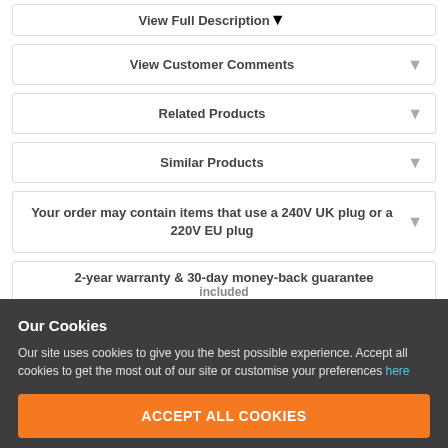View Full Description
View Customer Comments
Related Products
Similar Products
Your order may contain items that use a 240V UK plug or a 220V EU plug
2-year warranty & 30-day money-back guarantee included
Our Cookies
Our site uses cookies to give you the best possible experience. Accept all cookies to get the most out of our site or customise your preferences here
ACCEPT ALL COOKIES